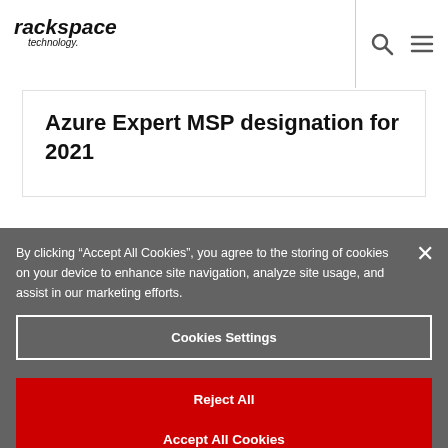[Figure (logo): Rackspace Technology logo — italic bold text 'rackspace' with 'technology.' subtitle]
in Messaging, Cloud Productivity, boration & Content, Sma and Midmarket Cloud Solutions
Azure Expert MSP designation for 2021
By clicking "Accept All Cookies", you agree to the storing of cookies on your device to enhance site navigation, analyze site usage, and assist in our marketing efforts.
Cookies Settings
Reject All
Accept All Cookies